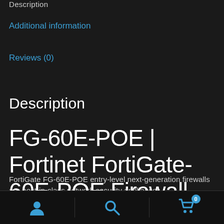Description
Additional information
Reviews (0)
Description
FG-60E-POE | Fortinet FortiGate-60E-POE Firewall
FortiGate FG-60E-POE entry-level next-generation firewalls are best-in-class network security appliances
[Figure (infographic): Bottom navigation bar with three icons: user/account icon, search icon, and shopping cart icon with badge showing 0]